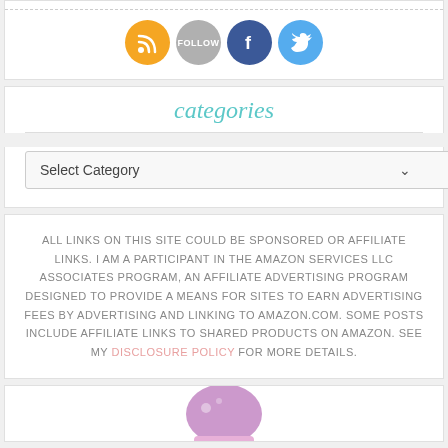[Figure (illustration): Social media icons: RSS (orange), Follow (gray), Facebook (blue), Twitter (light blue), all circular]
categories
[Figure (screenshot): Dropdown select box labeled 'Select Category' with a chevron arrow on the right]
ALL LINKS ON THIS SITE COULD BE SPONSORED OR AFFILIATE LINKS. I AM A PARTICIPANT IN THE AMAZON SERVICES LLC ASSOCIATES PROGRAM, AN AFFILIATE ADVERTISING PROGRAM DESIGNED TO PROVIDE A MEANS FOR SITES TO EARN ADVERTISING FEES BY ADVERTISING AND LINKING TO AMAZON.COM. SOME POSTS INCLUDE AFFILIATE LINKS TO SHARED PRODUCTS ON AMAZON. SEE MY DISCLOSURE POLICY FOR MORE DETAILS.
[Figure (illustration): Partial view of a purple cupcake illustration at the bottom of the page]